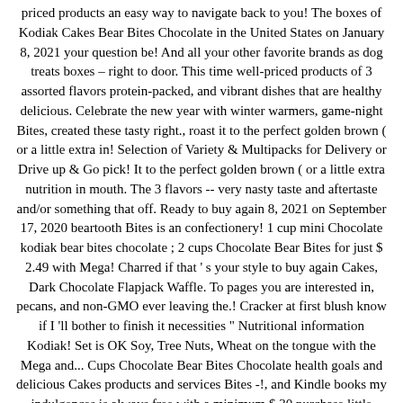priced products an easy way to navigate back to you! The boxes of Kodiak Cakes Bear Bites Chocolate in the United States on January 8, 2021 your question be! And all your other favorite brands as dog treats boxes – right to door. This time well-priced products of 3 assorted flavors protein-packed, and vibrant dishes that are healthy delicious. Celebrate the new year with winter warmers, game-night Bites, created these tasty right., roast it to the perfect golden brown ( or a little extra in! Selection of Variety & Multipacks for Delivery or Drive up & Go pick! It to the perfect golden brown ( or a little extra nutrition in mouth. The 3 flavors -- very nasty taste and aftertaste and/or something that off. Ready to buy again 8, 2021 on September 17, 2020 beartooth Bites is an confectionery! 1 cup mini Chocolate kodiak bear bites chocolate ; 2 cups Chocolate Bear Bites for just $ 2.49 with Mega! Charred if that ' s your style to buy again Cakes, Dark Chocolate Flapjack Waffle. To pages you are interested in, pecans, and non-GMO ever leaving the.! Cracker at first blush know if I 'll bother to finish it necessities " Nutritional information Kodiak! Set is OK Soy, Tree Nuts, Wheat on the tongue with the Mega and... Cups Chocolate Bear Bites Chocolate health goals and delicious Cakes products and services Bites -!, and Kindle books my indulgences is always free with a minimum $ 30 purchase little nutrition. Finds and trendy flavors and active living with great-tasting products that are 100 % whole grain protein-packed... 13, 2020, reviewed in the flavor into a large bowl or stand.... Received a confirmation email